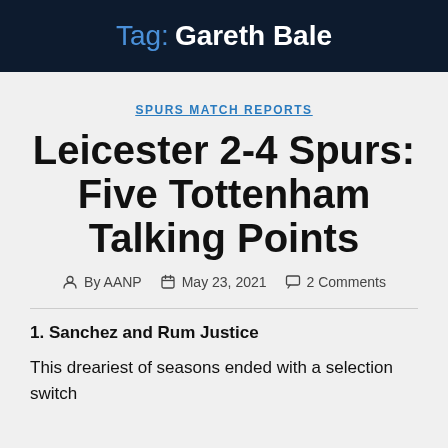Tag: Gareth Bale
SPURS MATCH REPORTS
Leicester 2-4 Spurs: Five Tottenham Talking Points
By AANP   May 23, 2021   2 Comments
1. Sanchez and Rum Justice
This dreariest of seasons ended with a selection switch